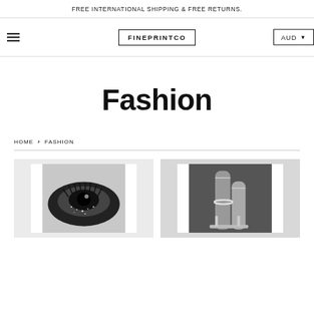FREE INTERNATIONAL SHIPPING & FREE RETURNS.
[Figure (logo): FINEPRINTCO logo in bordered box, with hamburger menu icon on left and AUD currency selector on right]
Fashion
HOME > FASHION
[Figure (photo): Black and white close-up fashion photo of an eye with dramatic makeup and glitter, shown as a print in a white frame on light grey background]
[Figure (photo): Black and white fashion photo of legs wearing high heel shoes with ankle bracelet, shown as a print in a white frame on light grey background]